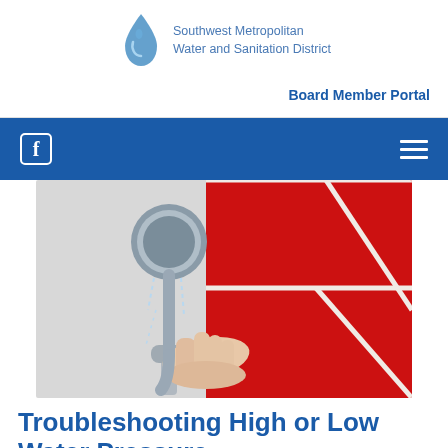Southwest Metropolitan Water and Sanitation District | Board Member Portal
[Figure (logo): Southwest Metropolitan Water and Sanitation District logo with blue water droplet icon]
[Figure (photo): A hand held open under a shower head with water dripping down, against a background of red and white tiles]
Troubleshooting High or Low Water Pressure